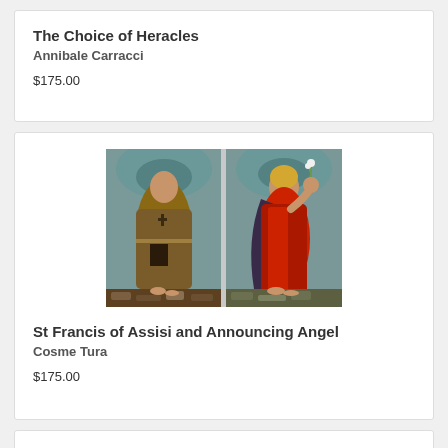The Choice of Heracles
Annibale Carracci
$175.00
[Figure (photo): Painting of St Francis of Assisi and Announcing Angel — two panel painting, left showing a monk in brown robes, right showing an angel in red robes]
St Francis of Assisi and Announcing Angel
Cosme Tura
$175.00